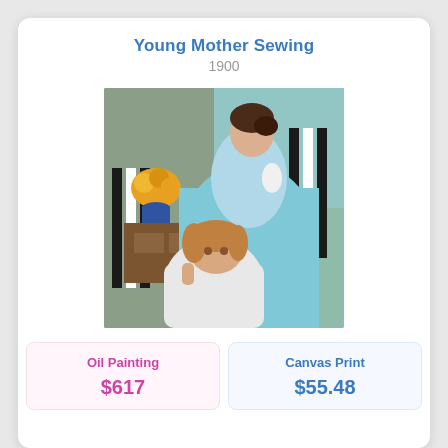Young Mother Sewing
1900
[Figure (photo): Oil painting 'Young Mother Sewing' (1900) by Mary Cassatt. A woman in a light blue dress sits in a striped chair sewing, while a young child leans against her looking at the viewer. Yellow flowers in a blue vase are visible in the background near a window.]
Oil Painting
$617
Canvas Print
$55.48